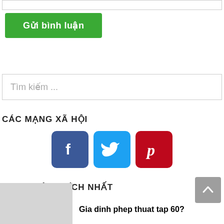[Figure (screenshot): Top input field (text box with border)]
[Figure (screenshot): Green submit button labeled 'Gửi bình luận']
[Figure (screenshot): Search box with placeholder text 'Tìm kiếm ...']
CÁC MẠNG XÃ HỘI
[Figure (infographic): Social media icons: Facebook (blue), Twitter (blue), Pinterest (red)]
ĐƯỢC YÊU THÍCH NHẤT
[Figure (screenshot): Back to top button (gray, arrow up)]
Gia dinh phep thuat tap 60?